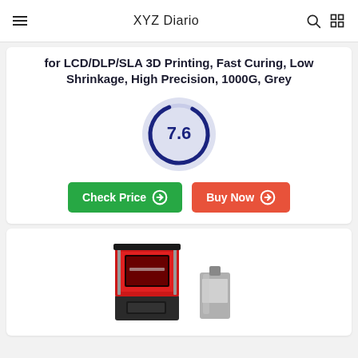XYZ Diario
for LCD/DLP/SLA 3D Printing, Fast Curing, Low Shrinkage, High Precision, 1000G, Grey
[Figure (infographic): Score circle showing 7.6 rating in dark blue on light lavender circular background]
Check Price | Buy Now
[Figure (photo): Red and black resin 3D printer (SLA/LCD type) with a grey resin bottle beside it]